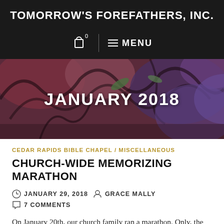TOMORROW'S FOREFATHERS, INC.
[Figure (screenshot): Navigation bar with cart icon (0 items) and hamburger MENU button on dark background]
JANUARY 2018
CEDAR RAPIDS BIBLE CHAPEL / MISCELLANEOUS
CHURCH-WIDE MEMORIZING MARATHON
JANUARY 29, 2018   GRACE MALLY
7 COMMENTS
On January 20th, our church family ran a marathon. Only, the entire event took place inside our church building. It was not running miles, but memorizing verses! It was an